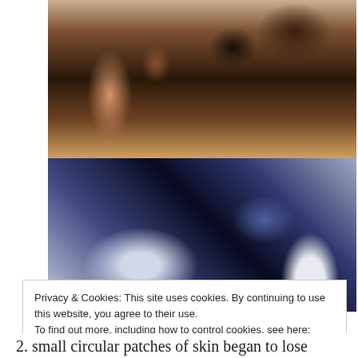[Figure (photo): Two close-up photos stacked vertically: top photo shows a person with dark messy hair bent forward wearing a pink/salmon top, revealing scalp; bottom photo shows a close-up of a dark blue fluffy/fuzzy sweater or scarf with loose hairs visible on a light surface]
Privacy & Cookies: This site uses cookies. By continuing to use this website, you agree to their use.
To find out more, including how to control cookies, see here:
Cookie Policy
Close and accept
2. small circular patches of skin began to lose